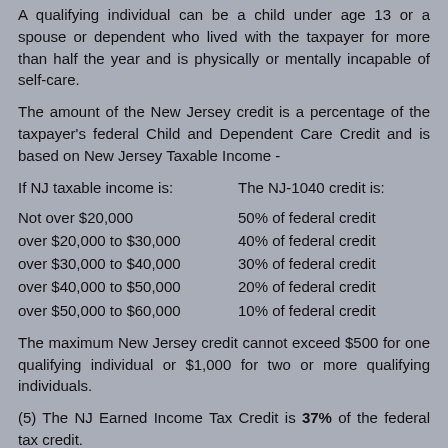A qualifying individual can be a child under age 13 or a spouse or dependent who lived with the taxpayer for more than half the year and is physically or mentally incapable of self-care.
The amount of the New Jersey credit is a percentage of the taxpayer's federal Child and Dependent Care Credit and is based on New Jersey Taxable Income -
| If NJ taxable income is: | The NJ-1040 credit is: |
| --- | --- |
| Not over $20,000 | 50% of federal credit |
| over $20,000 to $30,000 | 40% of federal credit |
| over $30,000 to $40,000 | 30% of federal credit |
| over $40,000 to $50,000 | 20% of federal credit |
| over $50,000 to $60,000 | 10% of federal credit |
The maximum New Jersey credit cannot exceed $500 for one qualifying individual or $1,000 for two or more qualifying individuals.
(5) The NJ Earned Income Tax Credit is 37% of the federal tax credit.
(6) There is a new refundable Wounded Warrior Caregiver Credit for a taxpayer with NJ gross income of less than